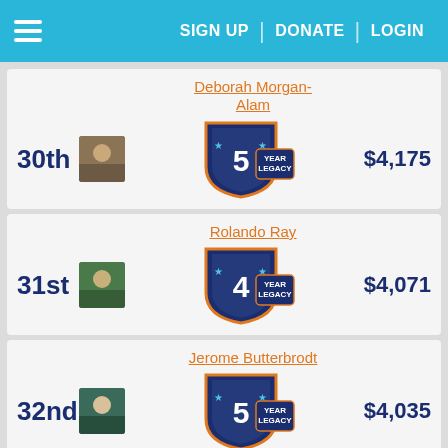SIGN UP | DONATE | LOGIN
30th – Deborah Morgan-Alam – 5 YEAR LEGACY – $4,175
31st – Rolando Ray – 4 YEAR LEGACY – $4,071
32nd – Jerome Butterbrodt – 5 YEAR LEGACY – $4,035
Julie Spielman